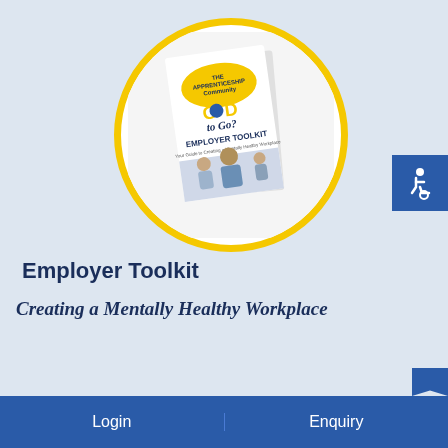[Figure (illustration): Circular framed image with yellow border showing a booklet/document cover for 'Good to Go? Employer Toolkit' from The Apprenticeship Community, featuring people in a workplace setting. The booklet cover has yellow and blue text and imagery.]
[Figure (logo): Blue square with white wheelchair accessibility icon]
Employer Toolkit
Creating a Mentally Healthy Workplace
Login   Enquiry